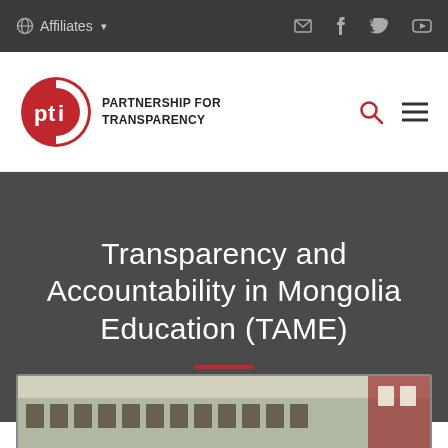Affiliates
[Figure (logo): Partnership for Transparency (PTI) logo — circular red and white emblem with text PARTNERSHIP FOR TRANSPARENCY]
Transparency and Accountability in Mongolia Education (TAME)
[Figure (photo): Interior photo of a classroom or hallway with framed portraits/photos on the wall]